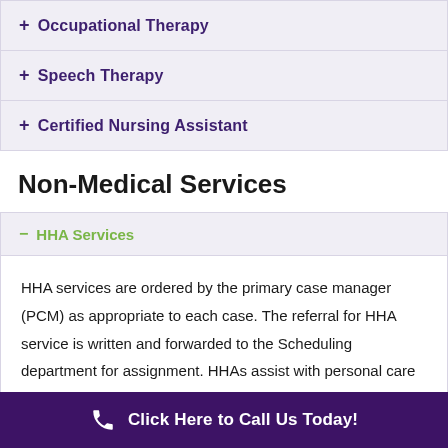+ Occupational Therapy
+ Speech Therapy
+ Certified Nursing Assistant
Non-Medical Services
— HHA Services
HHA services are ordered by the primary case manager (PCM) as appropriate to each case. The referral for HHA service is written and forwarded to the Scheduling department for assignment. HHAs assist with personal care and hygiene, assist with ambulation, transfers and exercise programs, provide basic nutritional support,
Click Here to Call Us Today!